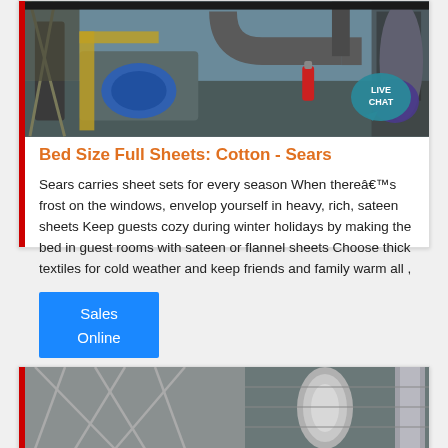[Figure (photo): Industrial machinery equipment with blue motor, pipes, and ducting in an outdoor/warehouse setting. A 'LIVE CHAT' speech bubble overlay in purple/teal appears in the bottom right corner.]
Bed Size Full Sheets: Cotton - Sears
Sears carries sheet sets for every season When thereâs frost on the windows, envelop yourself in heavy, rich, sateen sheets Keep guests cozy during winter holidays by making the bed in guest rooms with sateen or flannel sheets Choose thick textiles for cold weather and keep friends and family warm all ,
[Figure (other): Blue 'Sales Online' button/badge]
[Figure (photo): Industrial piping and structural metalwork, partially visible at the bottom of the page.]